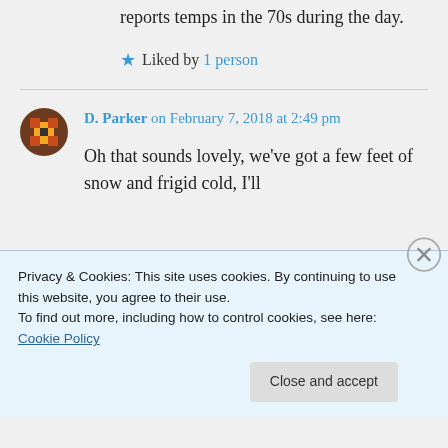reports temps in the 70s during the day.
Liked by 1 person
D. Parker on February 7, 2018 at 2:49 pm
Oh that sounds lovely, we've got a few feet of snow and frigid cold, I'll
Privacy & Cookies: This site uses cookies. By continuing to use this website, you agree to their use.
To find out more, including how to control cookies, see here: Cookie Policy
Close and accept